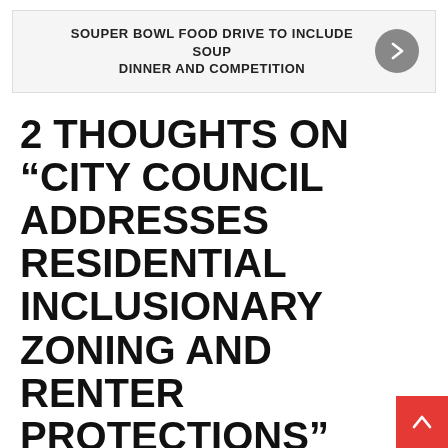SOUPER BOWL FOOD DRIVE TO INCLUDE SOUP DINNER AND COMPETITION
2 THOUGHTS ON “CITY COUNCIL ADDRESSES RESIDENTIAL INCLUSIONARY ZONING AND RENTER PROTECTIONS”
Stephen Smith says:
February 3, 2019 at 3:54 am
Mr. Ast, this is the first time I have ever seen, heard, or read that Landlords, Inc., was on the side of renters! Are you sure this is